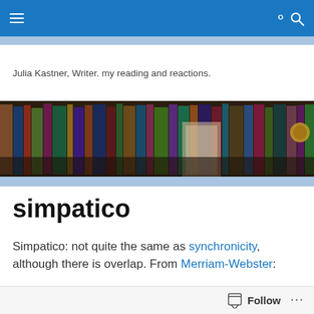[Figure (screenshot): Blue navigation bar with hamburger menu icon on the left and search icon on the right]
Julia Kastner, Writer. my reading and reactions.
[Figure (photo): Bookshelf photo showing rows of books in dark lighting]
simpatico
Simpatico: not quite the same as synchronicity, although there is overlap. From Merriam-Webster:
Follow ...